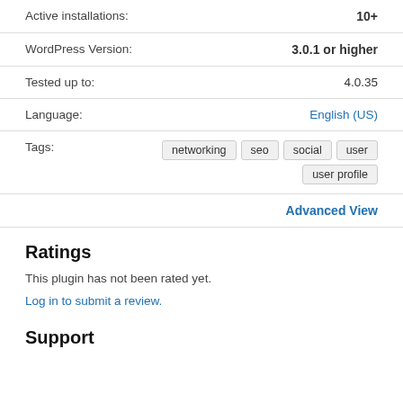| Active installations: | 10+ |
| WordPress Version: | 3.0.1 or higher |
| Tested up to: | 4.0.35 |
| Language: | English (US) |
Tags: networking seo social user user profile
Advanced View
Ratings
This plugin has not been rated yet.
Log in to submit a review.
Support